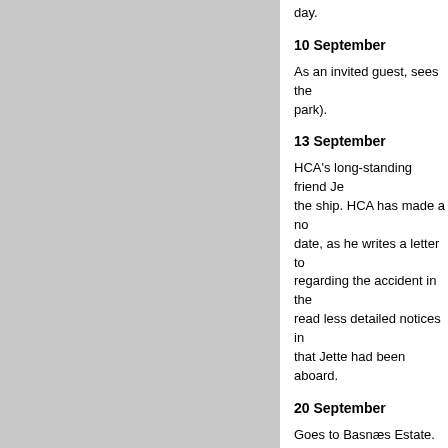day.
10 September
As an invited guest, sees the park).
13 September
HCA's long-standing friend Je the ship. HCA has made a no date, as he writes a letter to regarding the accident in the read less detailed notices in that Jette had been aboard.
20 September
Goes to Basnæs Estate. Ove
27 September
Returns to Copenhagen.